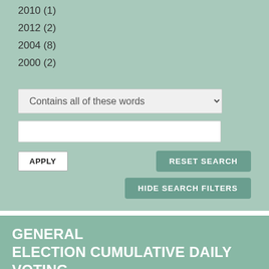2010 (1)
2012 (2)
2004 (8)
2000 (2)
Contains all of these words
APPLY
RESET SEARCH
HIDE SEARCH FILTERS
GENERAL ELECTION CUMULATIVE DAILY VOTING PERCENTAGE (2008)
TABLE | SHARE | MORE